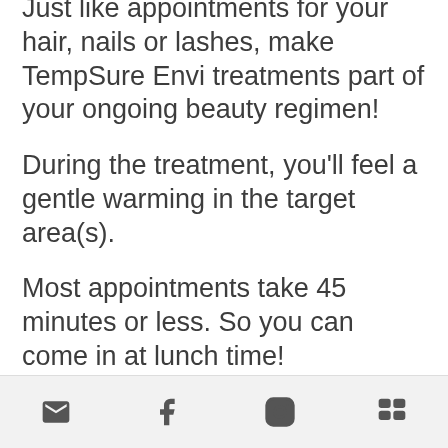Just like appointments for your hair, nails or lashes, make TempSure Envi treatments part of your ongoing beauty regimen!
During the treatment, you'll feel a gentle warming in the target area(s).
Most appointments take 45 minutes or less. So you can come in at lunch time!
After, there's usually only a slight redness of the treated area, that disappears quickly.
[email icon] [facebook icon] [instagram icon] [menu icon]